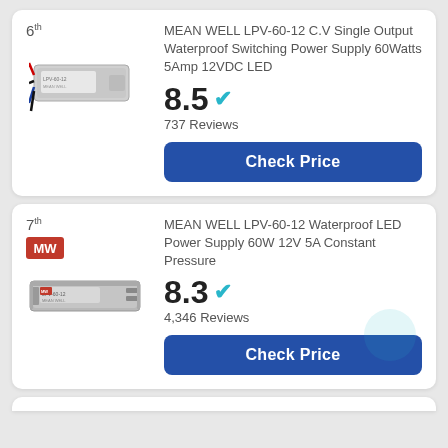6th
[Figure (photo): Photo of MEAN WELL LPV-60-12 waterproof switching power supply unit with red, black, and blue wires]
MEAN WELL LPV-60-12 C.V Single Output Waterproof Switching Power Supply 60Watts 5Amp 12VDC LED
8.5 ✔
737 Reviews
Check Price
7th
[Figure (logo): MEAN WELL (MW) red logo]
[Figure (photo): Photo of MEAN WELL LPV-60-12 waterproof LED power supply unit, gray rectangular enclosure]
MEAN WELL LPV-60-12 Waterproof LED Power Supply 60W 12V 5A Constant Pressure
8.3 ✔
4,346 Reviews
Check Price